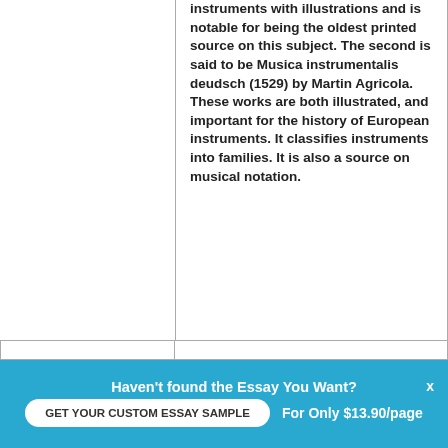instruments with illustrations and is notable for being the oldest printed source on this subject. The second is said to be Musica instrumentalis deudsch (1529) by Martin Agricola. These works are both illustrated, and important for the history of European instruments. It classifies instruments into families. It is also a source on musical notation.
Haven't found the Essay You Want?
GET YOUR CUSTOM ESSAY SAMPLE
For Only $13.90/page